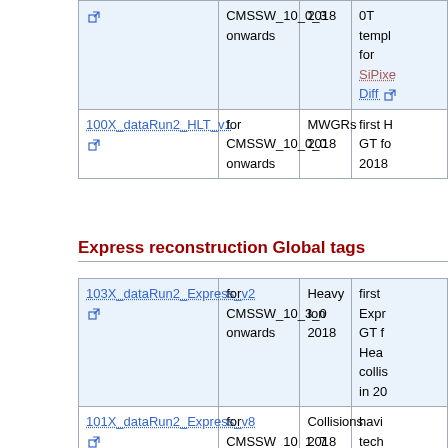| GT Name | Valid for | Era | Comment |
| --- | --- | --- | --- |
| [link] CMSSW_10_0_3 onwards | 2018 | 0T templ... for SiPixe... Diff [link] |
| 100X_dataRun2_HLT_v1 [link] | for CMSSW_10_0_0 onwards | MWGRs 2018 | first HLT GT fo... 2018 |
Express reconstruction Global tags
| GT Name | Valid for | Era | Comment |
| --- | --- | --- | --- |
| 103X_dataRun2_Express_v2 [link] | for CMSSW_10_3_0 onwards | Heavy Ion 2018 | first Expr... GT f... Hea... collis... in 20... |
| 101X_dataRun2_Express_v8 [link] | for CMSSW_10_1_7 onwards | Collisions 2018 | havi... tech... upda... ECA... timin... |